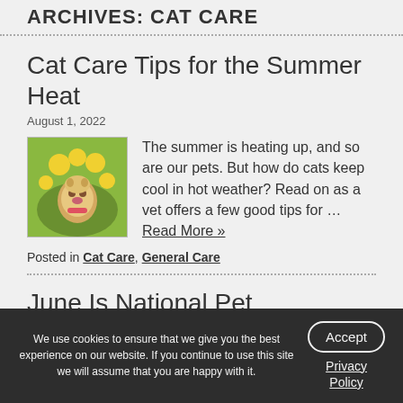ARCHIVES: CAT CARE
Cat Care Tips for the Summer Heat
August 1, 2022
[Figure (photo): Small fluffy dog with pink collar among yellow flowers]
The summer is heating up, and so are our pets. But how do cats keep cool in hot weather? Read on as a vet offers a few good tips for … Read More »
Posted in Cat Care, General Care
June Is National Pet Preparedness Month
We use cookies to ensure that we give you the best experience on our website. If you continue to use this site we will assume that you are happy with it.